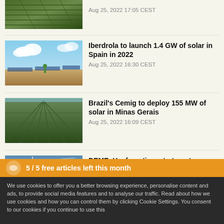[Figure (photo): Aerial view of solar panel farm, partially visible at top]
Aug 25, 2022 17:05 CEST
[Figure (photo): Person walking among solar panels with blue sky and clouds]
Iberdrola to launch 1.4 GW of solar in Spain in 2022
Aug 25, 2022 16:30 CEST
[Figure (photo): Aerial view of large solar farm with rows of panels]
Brazil's Cemig to deploy 155 MW of solar in Minas Gerais
Aug 25, 2022 16:09 CEST
[Figure (photo): Wind turbines against a blue sky]
DEME, Havfram tie up to target new Norwegian offshore wind
5 / 5  free articles left this month
We use cookies to offer you a better browsing experience, personalise content and ads, to provide social media features and to analyse our traffic. Read about how we use cookies and how you can control them by clicking Cookie Settings. You consent to our cookies if you continue to use this